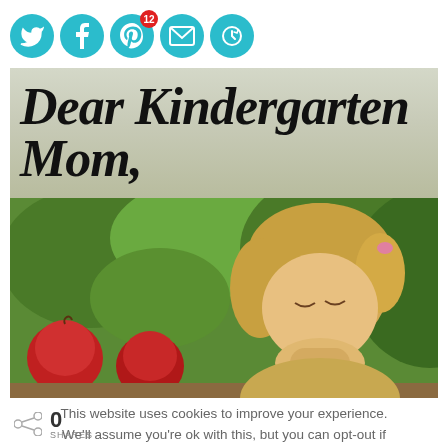[Figure (screenshot): Social sharing icons row: Twitter (bird), Facebook (f), Pinterest (p) with red badge showing 12, Email (envelope), and a circular arrow icon, all teal colored circles]
[Figure (photo): Blog post header image: top portion shows gray/sage banner with large italic script text 'Dear Kindergarten Mom,' and bottom portion shows a young blonde girl resting her head on her hand near two red apples on a table, green foliage background]
This website uses cookies to improve your experience. We'll assume you're ok with this, but you can opt-out if
0 SHARES